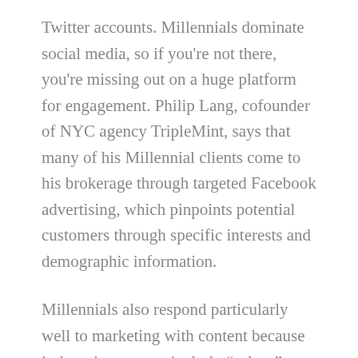Twitter accounts. Millennials dominate social media, so if you're not there, you're missing out on a huge platform for engagement. Philip Lang, cofounder of NYC agency TripleMint, says that many of his Millennial clients come to his brokerage through targeted Facebook advertising, which pinpoints potential customers through specific interests and demographic information.
Millennials also respond particularly well to marketing with content because it doesn't seem particularly “salesy” to them. Ivan Ciraj, sales representative for Cloud Realty in Ontario, Canada, uses blog posts that are SEO-